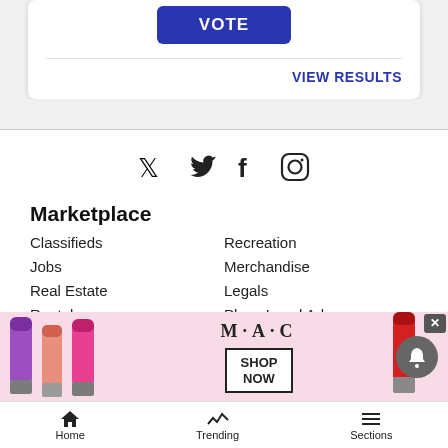[Figure (screenshot): Vote button (blue) inside a white card]
VIEW RESULTS
[Figure (illustration): Social media icons: Twitter bird, Facebook f, Instagram camera]
Marketplace
Classifieds
Recreation
Jobs
Merchandise
Real Estate
Legals
Rentals
Place Legal Ad
Autos
Search Legal Ads
Pets
[Figure (other): MAC cosmetics advertisement banner with lipsticks and SHOP NOW button]
Home   Trending   Sections